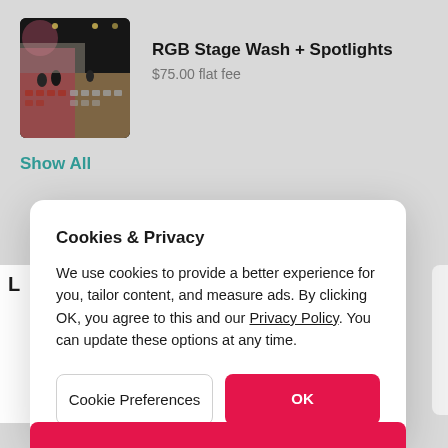[Figure (photo): Photo of a stage/event venue with chairs arranged in rows, people visible, pink/red stage lighting on left side, dark ceiling with lights]
RGB Stage Wash + Spotlights
$75.00 flat fee
Show All
Cookies & Privacy
We use cookies to provide a better experience for you, tailor content, and measure ads. By clicking OK, you agree to this and our Privacy Policy. You can update these options at any time.
Cookie Preferences
OK